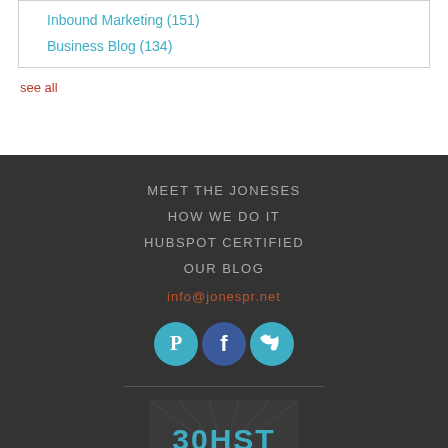Inbound Marketing (151)
Business Blog (134)
see all
MEET THE JONESES
HOW WE DO IT
HUBSPOT CERTIFIED
OUR BLOG
info@jonespr.net
[Figure (infographic): Social media icons: Pinterest (teal circle), Facebook (blue square-ish circle), Twitter (teal circle)]
[Figure (logo): Partial logo at bottom with teal text on dark background, partially visible, appears to show '30 HST' or similar]